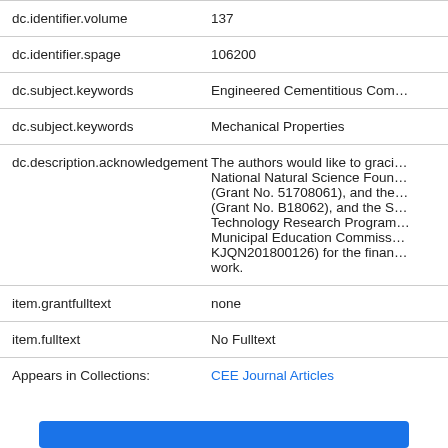| Field | Value |
| --- | --- |
| dc.identifier.volume | 137 |
| dc.identifier.spage | 106200 |
| dc.subject.keywords | Engineered Cementitious Com… |
| dc.subject.keywords | Mechanical Properties |
| dc.description.acknowledgement | The authors would like to graci… National Natural Science Foun… (Grant No. 51708061), and the… (Grant No. B18062), and the S… Technology Research Program… Municipal Education Commiss… KJQN201800126) for the finan… work. |
| item.grantfulltext | none |
| item.fulltext | No Fulltext |
| Appears in Collections: | CEE Journal Articles |